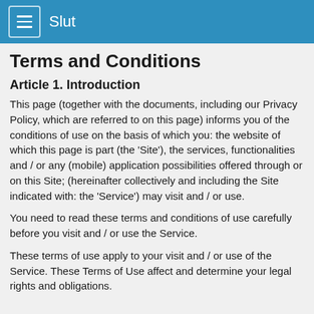Slut
Terms and Conditions
Article 1. Introduction
This page (together with the documents, including our Privacy Policy, which are referred to on this page) informs you of the conditions of use on the basis of which you: the website of which this page is part (the 'Site'), the services, functionalities and / or any (mobile) application possibilities offered through or on this Site; (hereinafter collectively and including the Site indicated with: the 'Service') may visit and / or use.
You need to read these terms and conditions of use carefully before you visit and / or use the Service.
These terms of use apply to your visit and / or use of the Service. These Terms of Use affect and determine your legal rights and obligations.